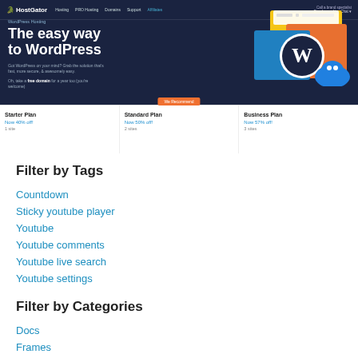[Figure (screenshot): HostGator WordPress Hosting webpage screenshot showing navigation bar, hero section with 'The easy way to WordPress' heading, WordPress logo illustration, and three pricing plan cards: Starter Plan (Now 40% off!), Standard Plan (Now 50% off!, recommended), and Business Plan (Now 57% off!)]
Filter by Tags
Countdown
Sticky youtube player
Youtube
Youtube comments
Youtube live search
Youtube settings
Filter by Categories
Docs
Frames